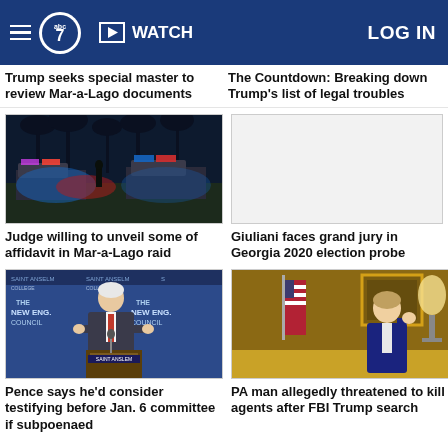abc7 | WATCH | LOG IN
Trump seeks special master to review Mar-a-Lago documents
The Countdown: Breaking down Trump's list of legal troubles
[Figure (photo): Police cars with flashing blue and red lights outside Mar-a-Lago at night, palm trees in background]
Judge willing to unveil some of affidavit in Mar-a-Lago raid
[Figure (photo): Empty white box (image not loaded)]
Giuliani faces grand jury in Georgia 2020 election probe
[Figure (photo): Mike Pence speaking at podium at Saint Anselm College, New Hampshire Institute of Politics, New England Council event]
Pence says he'd consider testifying before Jan. 6 committee if subpoenaed
[Figure (photo): PA man in a room with American flag and ornate decor]
PA man allegedly threatened to kill agents after FBI Trump search